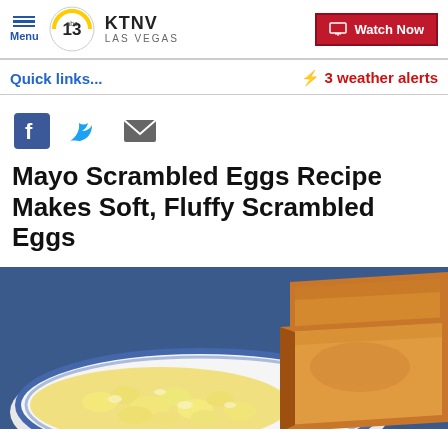Menu  KTNV LAS VEGAS  Watch Now
Quick links...
⚡ 3 weather alerts
[Figure (other): Social sharing icons: Facebook, Twitter, Email]
Mayo Scrambled Eggs Recipe Makes Soft, Fluffy Scrambled Eggs
[Figure (photo): Close-up photo of scrambled eggs on a blue and white plate with toasted bread slices]